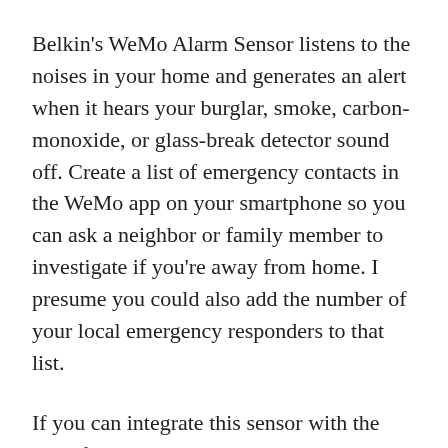Belkin's WeMo Alarm Sensor listens to the noises in your home and generates an alert when it hears your burglar, smoke, carbon-monoxide, or glass-break detector sound off. Create a list of emergency contacts in the WeMo app on your smartphone so you can ask a neighbor or family member to investigate if you're away from home. I presume you could also add the number of your local emergency responders to that list.
If you can integrate this sensor with the rest of your WeMo connected-home system, so that you can have lights come on in the event of a fire, this could be a better solution than the Leeo Smart Alert Nightlight that launched late last year.
Motion sensor